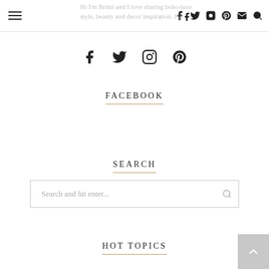Hi I'm Britni and I love sharing boho-luxe style, beauty and decor inspiration. Have a look around and make yourself at home.
[Figure (other): Social media icons in page header: Facebook, Twitter, Instagram, Pinterest, Email, Search]
[Figure (other): Social media icons: Facebook, Twitter, Instagram, Pinterest]
FACEBOOK
SEARCH
Search and hit enter...
HOT TOPICS